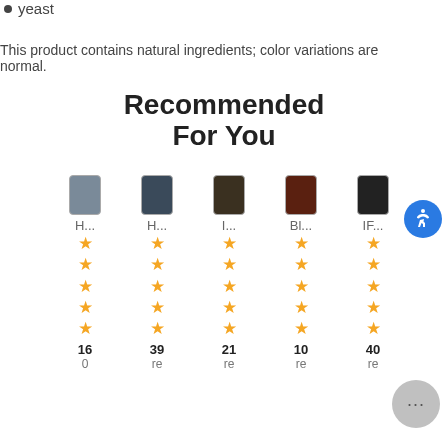yeast
This product contains natural ingredients; color variations are normal.
Recommended For You
[Figure (infographic): Five product supplement bottles shown in a grid with star ratings and review counts. Products labeled H..., H..., I..., Bl..., IF... each showing 5 stars and review counts: 160, 39 reviews, 21 reviews, 10 reviews, 40 reviews.]